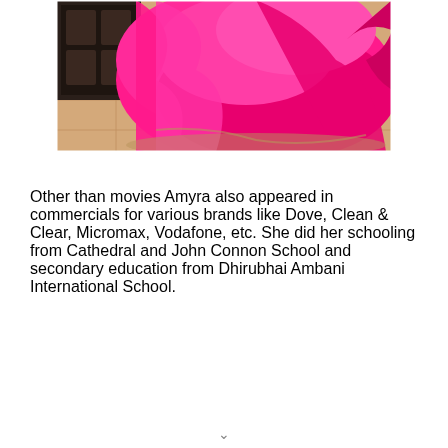[Figure (photo): A person wearing a flowing bright pink/fuchsia dress or lehenga, photographed outdoors on a tiled surface with shadows visible.]
Other than movies Amyra also appeared in commercials for various brands like Dove, Clean & Clear, Micromax, Vodafone, etc. She did her schooling from Cathedral and John Connon School and secondary education from Dhirubhai Ambani International School.